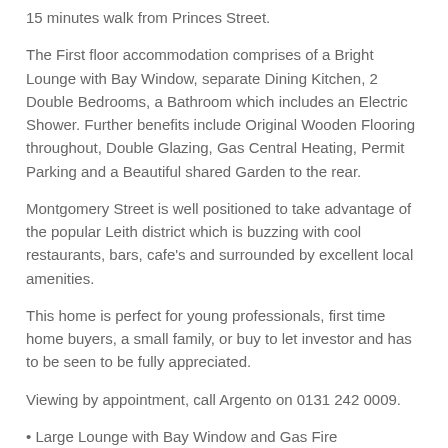15 minutes walk from Princes Street.
The First floor accommodation comprises of a Bright Lounge with Bay Window, separate Dining Kitchen, 2 Double Bedrooms, a Bathroom which includes an Electric Shower. Further benefits include Original Wooden Flooring throughout, Double Glazing, Gas Central Heating, Permit Parking and a Beautiful shared Garden to the rear.
Montgomery Street is well positioned to take advantage of the popular Leith district which is buzzing with cool restaurants, bars, cafe's and surrounded by excellent local amenities.
This home is perfect for young professionals, first time home buyers, a small family, or buy to let investor and has to be seen to be fully appreciated.
Viewing by appointment, call Argento on 0131 242 0009.
• Large Lounge with Bay Window and Gas Fire
• Spacious Dining Kitchen
• Master Bedroom with Generous Fitted Wardrobes
• Second Double Bedroom